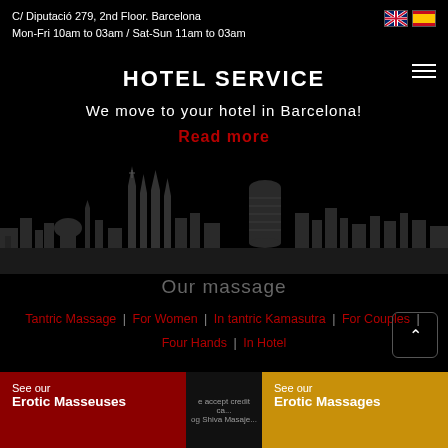C/ Diputació 279, 2nd Floor. Barcelona
Mon-Fri 10am to 03am / Sat-Sun 11am to 03am
HOTEL SERVICE
We move to your hotel in Barcelona!
Read more
[Figure (illustration): Barcelona city skyline silhouette in dark grey/black showing Sagrada Familia and Torre Agbar]
Our massage
Tantric Massage | For Women | In tantric Kamasutra | For Couples | Four Hands | In Hotel
See our
Erotic Masseuses
e accept credit ca... og Shiva Masaje...
See our
Erotic Massages